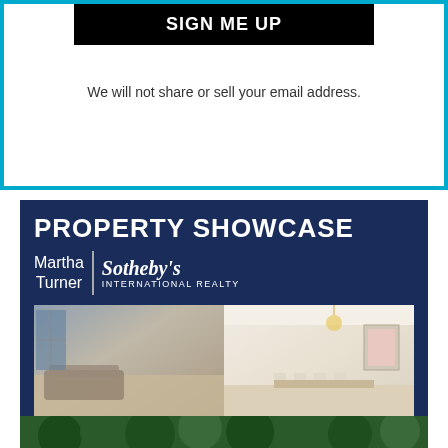SIGN ME UP
We will not share or sell your email address.
PROPERTY SHOWCASE
Martha Turner | Sotheby's INTERNATIONAL REALTY
[Figure (photo): Interior photo of a luxury living and dining room with light wood floors, white walls, modern chandelier, and elegant furniture]
RIVER OAKS | GREAT NEW PRICE
4 BED | 3.5 BATH | 3,516 SQ. FT.
[Figure (photo): Exterior photo showing green trees and landscaping]